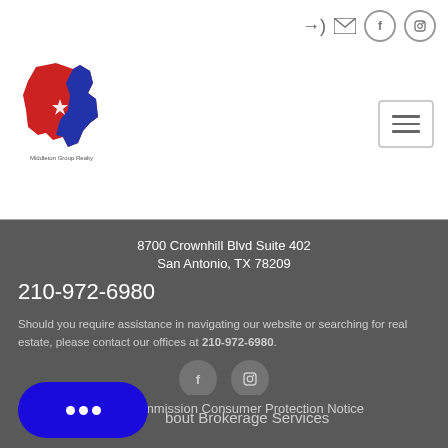[Figure (logo): Middleton Group Realty logo with Texas state shape in red and blue with a star, company name below]
8700 Crownhill Blvd Suite 402
San Antonio, TX 78209
210-972-6980
Should you require assistance in navigating our website or searching for real estate, please contact our offices at 210-972-6980.
Texas Real Estate Commission Consumer Protection Notice
About Brokerage Services